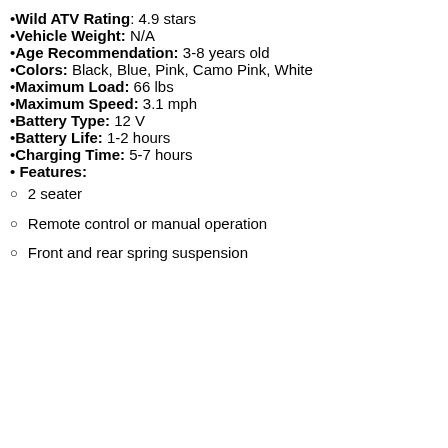Wild ATV Rating: 4.9 stars
Vehicle Weight: N/A
Age Recommendation: 3-8 years old
Colors: Black, Blue, Pink, Camo Pink, White
Maximum Load: 66 lbs
Maximum Speed: 3.1 mph
Battery Type: 12 V
Battery Life: 1-2 hours
Charging Time: 5-7 hours
Features:
2 seater
Remote control or manual operation
Front and rear spring suspension